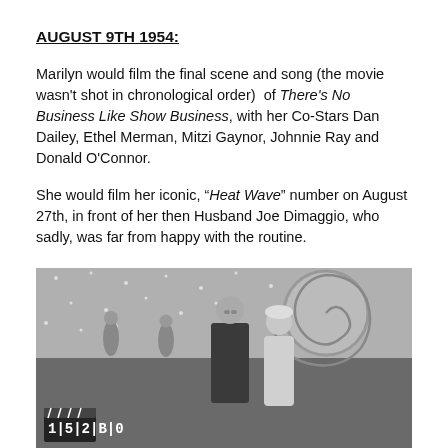AUGUST 9TH 1954:
Marilyn would film the final scene and song (the movie wasn't shot in chronological order)  of There's No Business Like Show Business, with her Co-Stars Dan Dailey, Ethel Merman, Mitzi Gaynor, Johnnie Ray and Donald O'Connor.
She would film her iconic, “Heat Wave” number on August 27th, in front of her then Husband Joe Dimaggio, who sadly, was far from happy with the routine.
[Figure (photo): Black and white film set photograph showing a man and Marilyn Monroe in costume on a stage set featuring a large spiral backdrop and performers in the background. A clapperboard is visible in the lower left corner.]